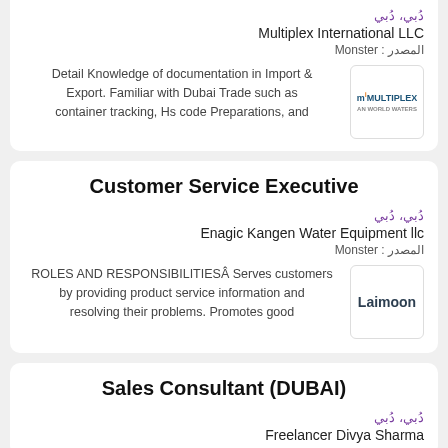دُبي، دُبي
Multiplex International LLC
المصدر : Monster
Detail Knowledge of documentation in Import & Export. Familiar with Dubai Trade such as container tracking, Hs code Preparations, and
Customer Service Executive
دُبي، دُبي
Enagic Kangen Water Equipment llc
المصدر : Monster
ROLES AND RESPONSIBILITIESÂ Serves customers by providing product service information and resolving their problems. Promotes good
Sales Consultant (DUBAI)
دُبي، دُبي
Freelancer Divya Sharma